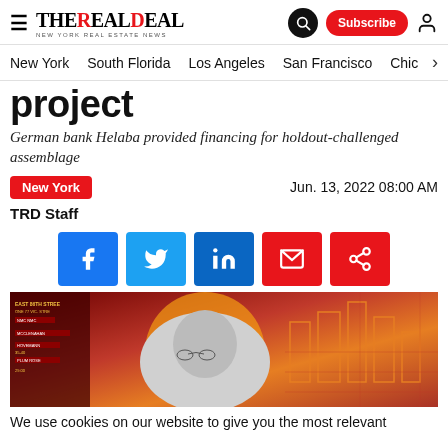THE REAL DEAL — New York Real Estate News
project
German bank Helaba provided financing for holdout-challenged assemblage
New York  |  Jun. 13, 2022 08:00 AM
TRD Staff
[Figure (screenshot): Social share buttons: Facebook, Twitter, LinkedIn, Email, Share]
[Figure (photo): Article hero image showing a man in glasses against an orange/red illustrated cityscape background with building outlines. Text overlay 'EAST 86TH STREET' visible.]
We use cookies on our website to give you the most relevant